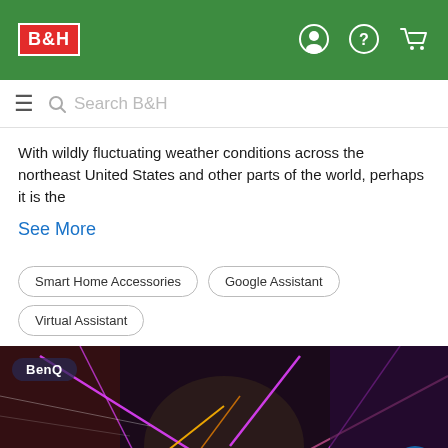[Figure (logo): B&H Photo Video logo in red box with white text, placed in green header bar with user, help, and cart icons]
[Figure (screenshot): Search bar with hamburger menu icon on left and 'Search B&H' placeholder text with magnifying glass icon]
With wildly fluctuating weather conditions across the northeast United States and other parts of the world, perhaps it is the
See More
Smart Home Accessories
Google Assistant
Virtual Assistant
[Figure (photo): BenQ promotional banner with colorful neon pink and orange laser light effects on dark background, BenQ logo in upper left, chat bubble icon in lower right]